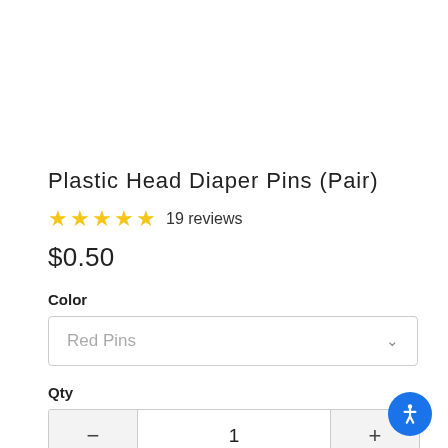Plastic Head Diaper Pins (Pair)
★★★★★ 19 reviews
$0.50
Color
Red Pins
Qty
1